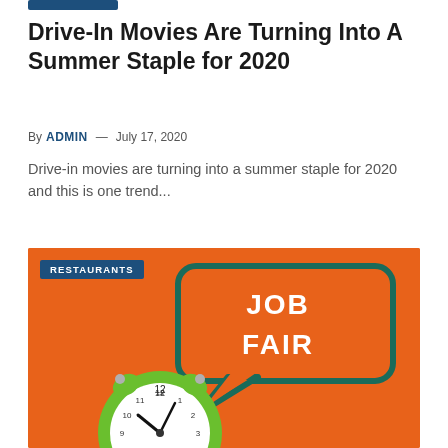[Figure (other): Small dark blue rectangular banner/tag at top left]
Drive-In Movies Are Turning Into A Summer Staple for 2020
By ADMIN — July 17, 2020
Drive-in movies are turning into a summer staple for 2020 and this is one trend...
[Figure (photo): Orange background photo showing a green alarm clock and a speech bubble sign reading JOB FAIR in teal/dark green, with RESTAURANTS badge overlay in top left corner]